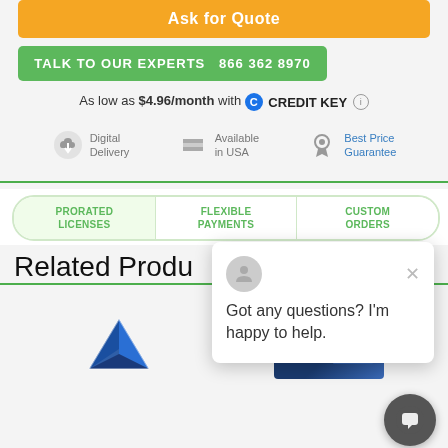Ask for Quote
TALK TO OUR EXPERTS   866 362 8970
As low as $4.96/month with  CREDIT KEY  ⓘ
Digital Delivery
Available in USA
Best Price Guarantee
PRORATED LICENSES | FLEXIBLE PAYMENTS | CUSTOM ORDERS
Related Produ
Got any questions? I'm happy to help.
[Figure (screenshot): SketchUp logo - blue geometric house/building mark]
[Figure (screenshot): Corel product box - dark blue box with Corel branding and person image]